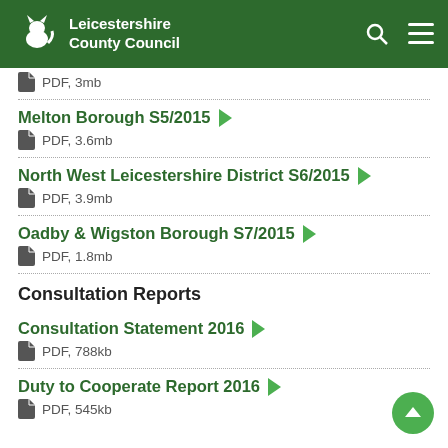Leicestershire County Council
PDF, 3mb
Melton Borough S5/2015
PDF, 3.6mb
North West Leicestershire District S6/2015
PDF, 3.9mb
Oadby & Wigston Borough S7/2015
PDF, 1.8mb
Consultation Reports
Consultation Statement 2016
PDF, 788kb
Duty to Cooperate Report 2016
PDF, 545kb